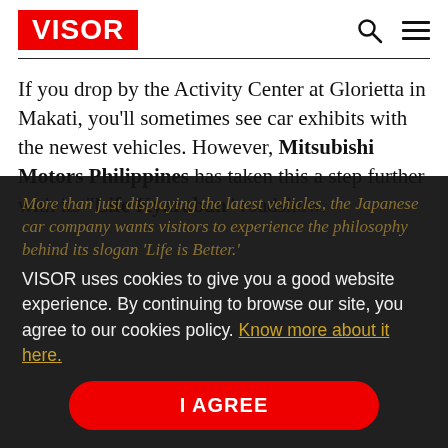VISOR
If you drop by the Activity Center at Glorietta in Makati, you'll sometimes see car exhibits with the newest vehicles. However, Mitsubishi Motors Philippines has taken this a step further with its "Life Kyaraban" roadshow.
More than just displaying the latest vehicles, the Japanese car company wants visitors to experience the philosophy behind its slogan 'Life is Better.'
VISOR uses cookies to give you a good website experience. By continuing to browse our site, you agree to our cookies policy. Know more about it here.
I AGREE